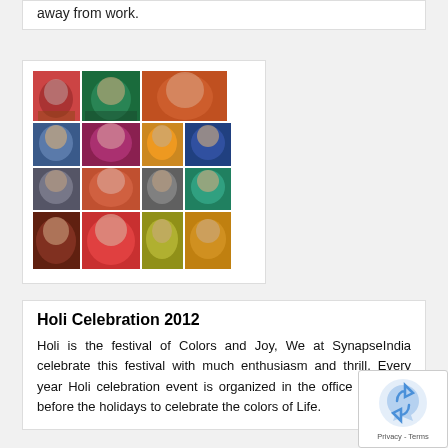away from work.
[Figure (photo): Collage of faces covered in Holi colors]
Holi Celebration 2012
Holi is the festival of Colors and Joy, We at SynapseIndia celebrate this festival with much enthusiasm and thrill. Every year Holi celebration event is organized in the office premises before the holidays to celebrate the colors of Life.